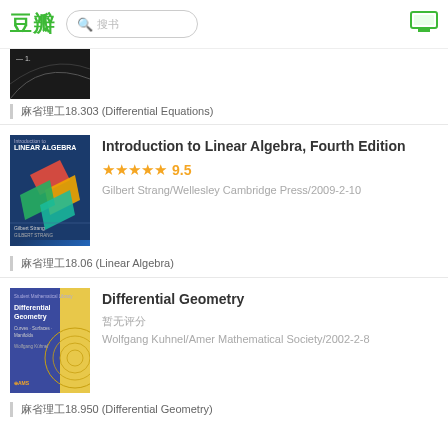豆瓣 搜书
[Figure (photo): Partial book cover visible at top — dark background with curve]
麻省理工18.303 (Differential Equations)
[Figure (photo): Introduction to Linear Algebra, Fourth Edition book cover — dark blue background with colored shapes, Gilbert Strang]
Introduction to Linear Algebra, Fourth Edition
★★★★★ 9.5
Gilbert Strang/Wellesley Cambridge Press/2009-2-10
麻省理工18.06 (Linear Algebra)
[Figure (photo): Differential Geometry book cover — yellow and blue, Wolfgang Kuhnel, AMS]
Differential Geometry
暂无评分
Wolfgang Kuhnel/Amer Mathematical Society/2002-2-8
麻省理工18.950 (Differential Geometry)